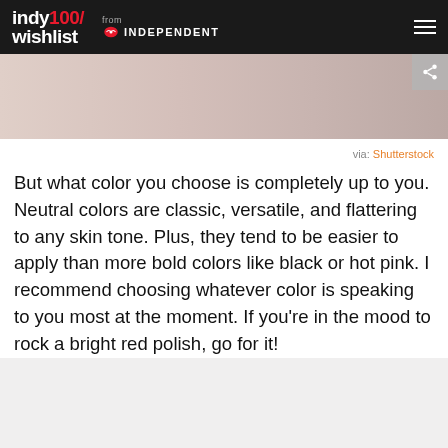indy100/ wishlist — from INDEPENDENT
[Figure (photo): Cropped photo of skin/hand — top portion of article image, with share button overlay]
via: Shutterstock
But what color you choose is completely up to you. Neutral colors are classic, versatile, and flattering to any skin tone. Plus, they tend to be easier to apply than more bold colors like black or hot pink. I recommend choosing whatever color is speaking to you most at the moment. If you're in the mood to rock a bright red polish, go for it!
[Figure (photo): Bottom gray area — partially visible next image or advertisement block]